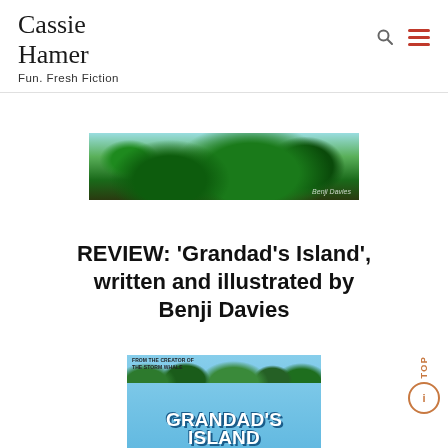Cassie Hamer
Fun. Fresh Fiction
[Figure (photo): Banner image of a lush jungle/tropical island scene with dark green foliage, used as a decorative header for the blog. 'Benji Davies' watermark visible in lower right.]
REVIEW: 'Grandad's Island', written and illustrated by Benji Davies
[Figure (photo): Book cover of 'Grandad's Island' by Benji Davies. Light blue sky background with tropical leaves, colorful parrots/birds, and the title 'GRANDAD'S ISLAND' in large white bold letters. Small text at top reads 'FROM THE CREATORS OF THE STORM WHALE'.]